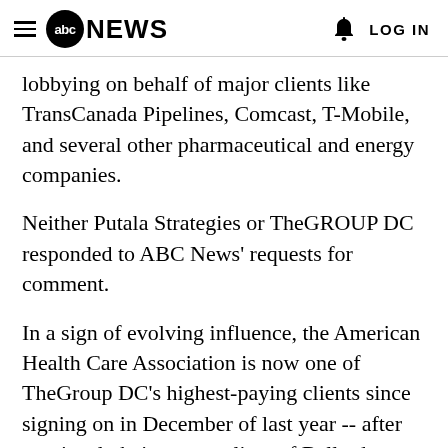abc NEWS   LOG IN
lobbying on behalf of major clients like TransCanada Pipelines, Comcast, T-Mobile, and several other pharmaceutical and energy companies.
Neither Putala Strategies or TheGROUP DC responded to ABC News' requests for comment.
In a sign of evolving influence, the American Health Care Association is now one of TheGroup DC's highest-paying clients since signing on in December of last year -- after previously being a top client of Ballard Partners. After several years of billing the